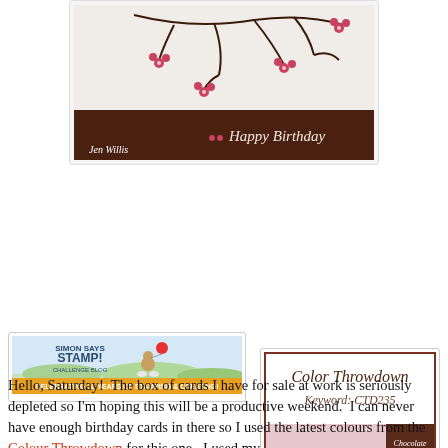[Figure (photo): A handmade birthday card with cherry blossom branches on white background and a dark brown band with 'Happy Birthday' text. Watermark: Jen Willis.]
[Figure (photo): Color Throwdown challenge card showing pink cupcakes/desserts with white meringue topping, with color swatches: Chocolate Chip, Primrose Petals, Raspberry Ripple, White. Title: Color Throwdown, Keyword: CTD235.]
[Figure (photo): Simon Says Stamp Challenge Blog banner - celebrating 10 years of stamping & creating.]
Hello, Saturday!  The box of cards I have for sale at work is seriously depleted so I'm hoping this will be a productive weekend.  I can never have enough birthday cards in there so I used the latest colours from the Colour Throwdown for this one.  I used my